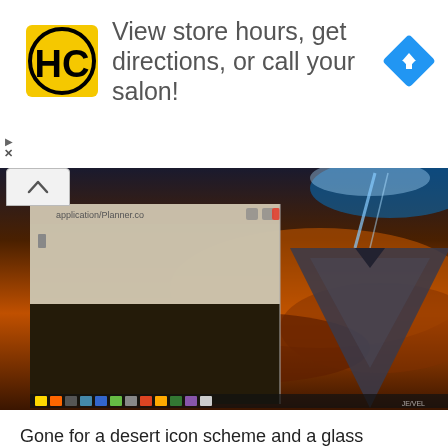[Figure (other): Advertisement banner with HC logo (yellow square with black HC letters), text 'View store hours, get directions, or call your salon!', and a blue diamond navigation icon. Small play and X controls at lower left.]
[Figure (screenshot): Screenshot showing a Linux desktop with a dark terminal/application window on the left and a sci-fi fantasy wallpaper on the right depicting a large pyramid against a dramatic orange and blue sky with a beam of light.]
Gone for a desert icon scheme and a glass surface. Sort of like what ancient egypt would look like about 1000 years into the future, compliments my speakers nicely: